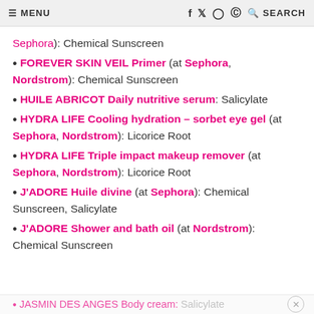≡ MENU   f  𝕥  ⊙  ⊕  🔍 SEARCH
Sephora): Chemical Sunscreen
FOREVER SKIN VEIL Primer (at Sephora, Nordstrom): Chemical Sunscreen
HUILE ABRICOT Daily nutritive serum: Salicylate
HYDRA LIFE Cooling hydration – sorbet eye gel (at Sephora, Nordstrom): Licorice Root
HYDRA LIFE Triple impact makeup remover (at Sephora, Nordstrom): Licorice Root
J'ADORE Huile divine (at Sephora): Chemical Sunscreen, Salicylate
J'ADORE Shower and bath oil (at Nordstrom): Chemical Sunscreen
JASMIN DES ANGES Body cream: Salicylate